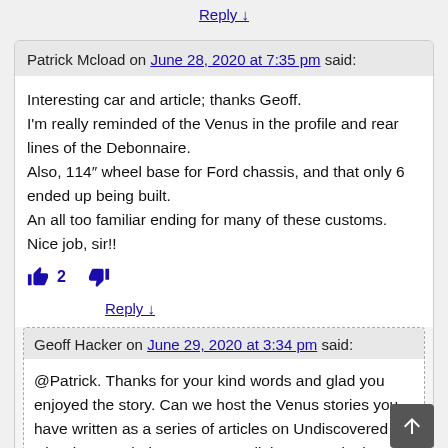Reply ↓
Patrick Mcload on June 28, 2020 at 7:35 pm said:
Interesting car and article; thanks Geoff.
I'm really reminded of the Venus in the profile and rear lines of the Debonnaire.
Also, 114″ wheel base for Ford chassis, and that only 6 ended up being built.
An all too familiar ending for many of these customs.
Nice job, sir!!
Reply ↓
Geoff Hacker on June 29, 2020 at 3:34 pm said:
@Patrick. Thanks for your kind words and glad you enjoyed the story. Can we host the Venus stories you have written as a series of articles on Undiscovered Classics? Each time I can put a link to your site but we